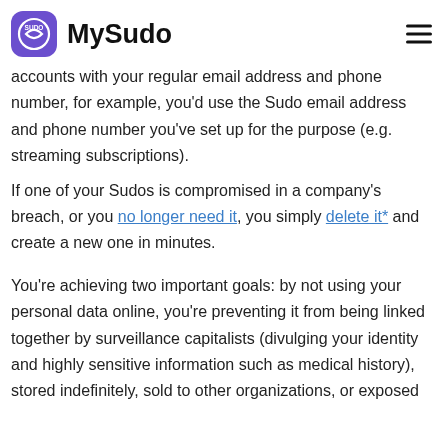MySudo
accounts with your regular email address and phone number, for example, you'd use the Sudo email address and phone number you've set up for the purpose (e.g. streaming subscriptions).
If one of your Sudos is compromised in a company's breach, or you no longer need it, you simply delete it* and create a new one in minutes.
You're achieving two important goals: by not using your personal data online, you're preventing it from being linked together by surveillance capitalists (divulging your identity and highly sensitive information such as medical history), stored indefinitely, sold to other organizations, or exposed